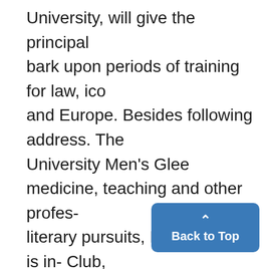University, will give the principal bark upon periods of training for law, ico and Europe. Besides following address. The University Men's Glee medicine, teaching and other profes- literary pursuits, Miss Harding is in- Club, under the direction of Prof, sions. terested in music. A short time ago David Mattern, will present part of Recent tests show that children she refused an offer from the Mon- the program. will choose a currently popular Opera Company to' sing the Ot on the two-day pro-
[Figure (other): Blue 'Back to Top' button with upward arrow chevron]